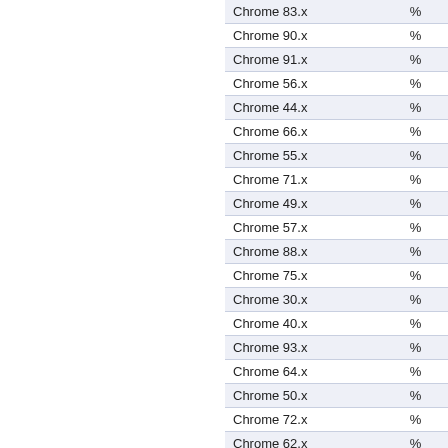| Browser |  |
| --- | --- |
| Chrome 83.x | % |
| Chrome 90.x | % |
| Chrome 91.x | % |
| Chrome 56.x | % |
| Chrome 44.x | % |
| Chrome 66.x | % |
| Chrome 55.x | % |
| Chrome 71.x | % |
| Chrome 49.x | % |
| Chrome 57.x | % |
| Chrome 88.x | % |
| Chrome 75.x | % |
| Chrome 30.x | % |
| Chrome 40.x | % |
| Chrome 93.x | % |
| Chrome 64.x | % |
| Chrome 50.x | % |
| Chrome 72.x | % |
| Chrome 62.x | % |
| Chrome 86.x | % |
| Chrome 84.x | % |
| Chrome 46.x | % |
| Chrome 43.x | % |
| Chrome 105... | % |